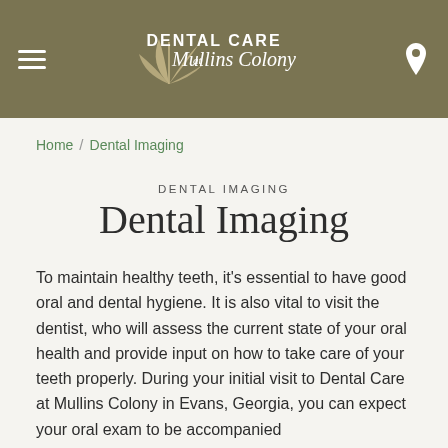DENTAL CARE at Mullins Colony
Home / Dental Imaging
DENTAL IMAGING
Dental Imaging
To maintain healthy teeth, it's essential to have good oral and dental hygiene. It is also vital to visit the dentist, who will assess the current state of your oral health and provide input on how to take care of your teeth properly. During your initial visit to Dental Care at Mullins Colony in Evans, Georgia, you can expect your oral exam to be accompanied